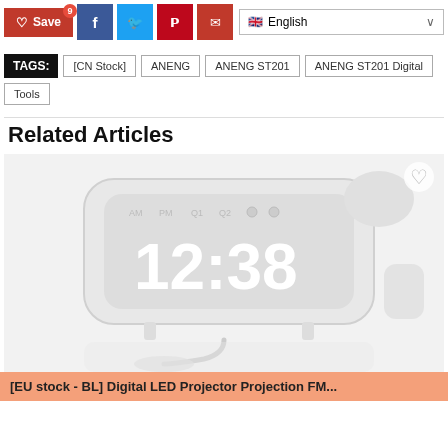[Figure (screenshot): Social sharing buttons: Save (red), Facebook (blue), Twitter (light blue), Pinterest (red), Email/share, and English language selector with UK flag]
TAGS: [CN Stock]  ANENG  ANENG ST201  ANENG ST201 Digital  Tools
Related Articles
[Figure (photo): A white digital LED projection alarm clock showing 12:38 on a curved display, photographed on white background]
[EU stock - BL] Digital LED Projector Projection FM...